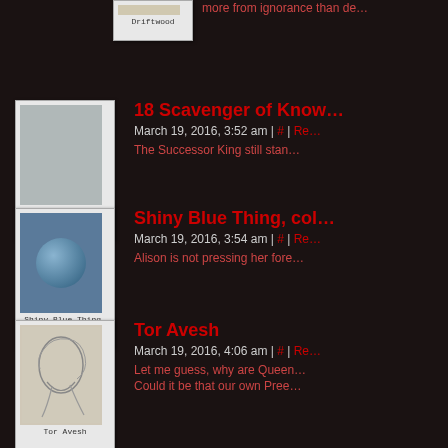more from ignorance than de…
18 Scavenger of Know…
March 19, 2016, 3:52 am | # | Re…
The Successor King still stan…
Shiny Blue Thing, col…
March 19, 2016, 3:54 am | # | Re…
Alison is not pressing her fore…
Tor Avesh
March 19, 2016, 4:06 am | # | Re…
Let me guess, why are Queen… Could it be that our own Pree…
YOLF
March 19, 2016, 4:06 am | # | Re…
Nadia is doing the exasperate…
Arianod
March 19, 2016, 10…
All she needs…